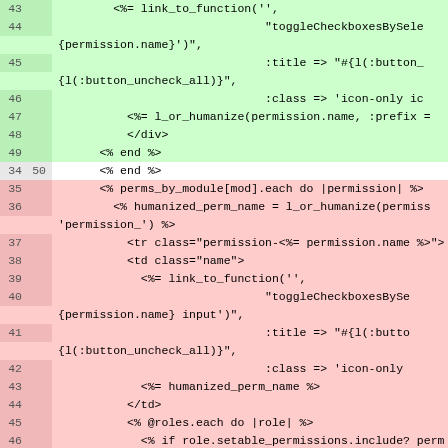[Figure (screenshot): Code diff view showing Ruby/ERB template code with line numbers. Green highlighted lines (additions) numbered 43-50 show link_to_function with toggleCheckboxesBySelection, permission name, title, class, l_or_humanize, /div and end tags. A neutral line 34/50 shows <% end %>. Red highlighted lines (deletions) numbered 35-50 show perms_by_module iteration, humanized_perm_name, tr/td tags, link_to_function with toggleCheckboxesBySelection, title, class, humanized_perm_name, /td, @roles.each, role.setable_permissions.include?, td title, check_box_tag permissions, role.permissions.include?, /td, else tags.]